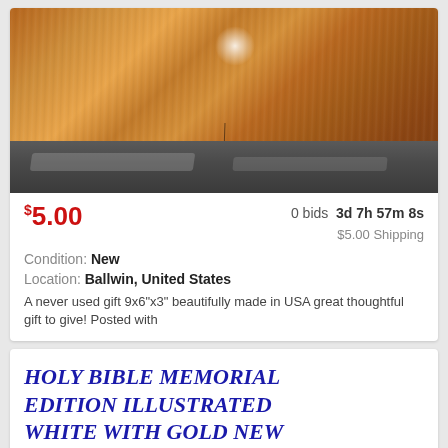[Figure (photo): Photo of a wooden surface with grain and knots, sitting on a stone/concrete base. There is a bright specular highlight (white circle) on the wood surface and a dark crack visible near the bottom of the wood section.]
$5.00  0 bids  3d 7h 57m 8s
$5.00 Shipping
Condition: New
Location: Ballwin, United States
A never used gift 9x6"x3" beautifully made in USA great thoughtful gift to give! Posted with
HOLY BIBLE MEMORIAL EDITION ILLUSTRATED WHITE WITH GOLD NEW
[Figure (photo): Partial photo at bottom showing what appears to be stacked papers or pages of a book on a wooden surface.]